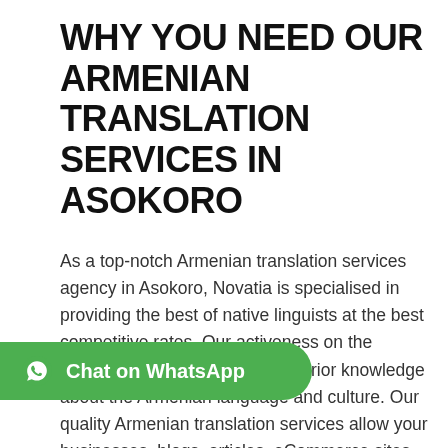WHY YOU NEED OUR ARMENIAN TRANSLATION SERVICES IN ASOKORO
As a top-notch Armenian translation services agency in Asokoro, Novatia is specialised in providing the best of native linguists at the best competitive rates. Our activeness on the Armenian market has given us prior knowledge about the Armenian language and culture. Our quality Armenian translation services allow your businesses, blogs, articles, eCommerce sites, etc to speak directly and easily reach your target Armenian audience.
To ensure you make it big in the Armenian market, Novatia offers you interpretations, translations, and localisation services with skilled human...